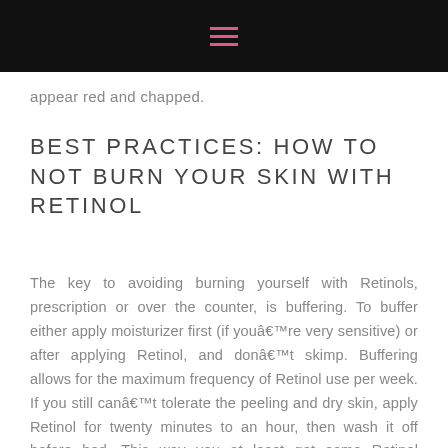☰
appear red and chapped.
BEST PRACTICES: HOW TO NOT BURN YOUR SKIN WITH RETINOL
The key to avoiding burning yourself with Retinols, prescription or over the counter, is buffering. To buffer either apply moisturizer first (if youâ€™re very sensitive) or after applying Retinol, and donâ€™t skimp. Buffering allows for the maximum frequency of Retinol use per week. If you still canâ€™t tolerate the peeling and dry skin, apply Retinol for twenty minutes to an hour, then wash it off before bed. This way you at least get some Retinol benefits.